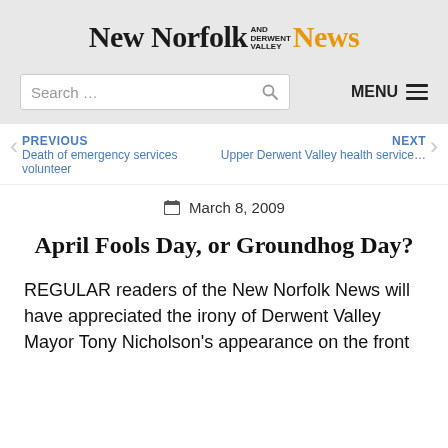New Norfolk AND DERWENT VALLEY News
Search …
MENU
PREVIOUS Death of emergency services volunteer
NEXT Upper Derwent Valley health service…
March 8, 2009
April Fools Day, or Groundhog Day?
REGULAR readers of the New Norfolk News will have appreciated the irony of Derwent Valley Mayor Tony Nicholson's appearance on the front…